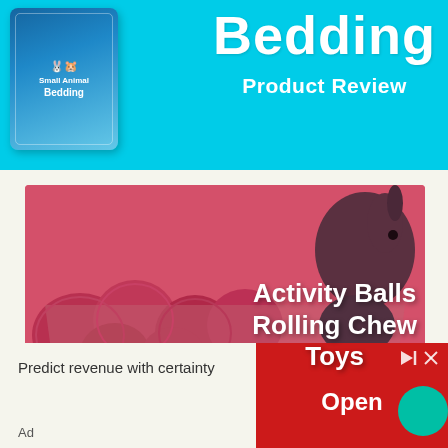[Figure (illustration): Cyan/blue banner with a blue product bag on the left and bold white text 'Bedding' and 'Product Review' on the right]
[Figure (photo): Pink-tinted banner image showing a rabbit sitting in a box with activity balls/chew toys, overlaid with white bold text 'Activity Balls Rolling Chew Toys']
Predict revenue with certainty
Open
Ad